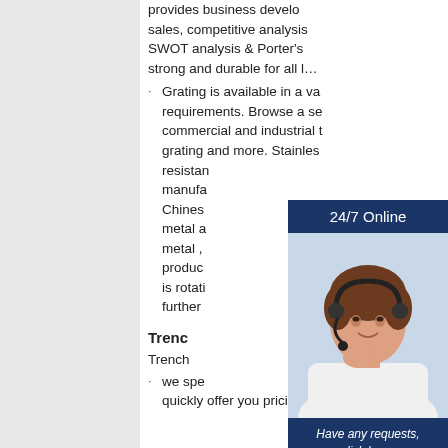provides business development sales, competitive analysis SWOT analysis & Porter's strong and durable for all l...
Grating is available in a variety of requirements. Browse a selection of commercial and industrial grating and more. Stainless resistance manufactu... Chinese metal and metal products is rotati further...
[Figure (photo): Customer service representative with headset, overlaid with '24/7 Online' header, 'Have any requests, click here.' text and 'Quotation' button]
Trenc...
Trench... we spe... quickly offer you pricing am...